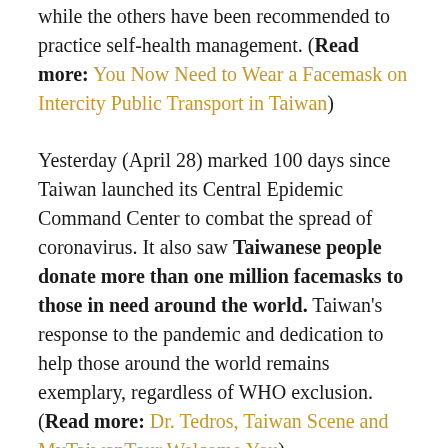while the others have been recommended to practice self-health management. (Read more: You Now Need to Wear a Facemask on Intercity Public Transport in Taiwan)
Yesterday (April 28) marked 100 days since Taiwan launched its Central Epidemic Command Center to combat the spread of coronavirus. It also saw Taiwanese people donate more than one million facemasks to those in need around the world. Taiwan's response to the pandemic and dedication to help those around the world remains exemplary, regardless of WHO exclusion. (Read more: Dr. Tedros, Taiwan Scene and MyTaiwanTour Welcome You)